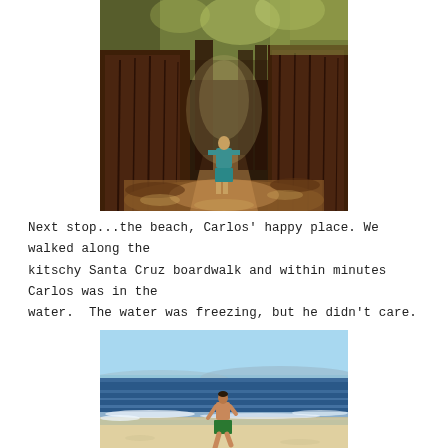[Figure (photo): Person standing between large redwood trees on a forest path, dappled sunlight filtering through the canopy]
Next stop...the beach, Carlos' happy place. We walked along the kitschy Santa Cruz boardwalk and within minutes Carlos was in the water.  The water was freezing, but he didn't care.
[Figure (photo): Person running along the shoreline of a beach with ocean waves, wearing green shorts, shirtless, blue sky and distant mountains in background]